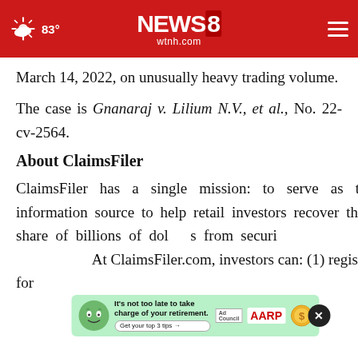NEWS 8 wtnh.com | 83°
March 14, 2022, on unusually heavy trading volume.
The case is Gnanaraj v. Lilium N.V., et al., No. 22-cv-2564.
About ClaimsFiler
ClaimsFiler has a single mission: to serve as the information source to help retail investors recover their share of billions of dollars from securities class action settlements. At ClaimsFiler.com, investors can: (1) register for
[Figure (infographic): AARP advertisement banner: green background with cartoon mascot face, text 'It's not too late to take charge of your retirement. Get your top 3 tips →', Ad Council logo, AARP logo, gold coin icon. Close button (×) overlaid.]